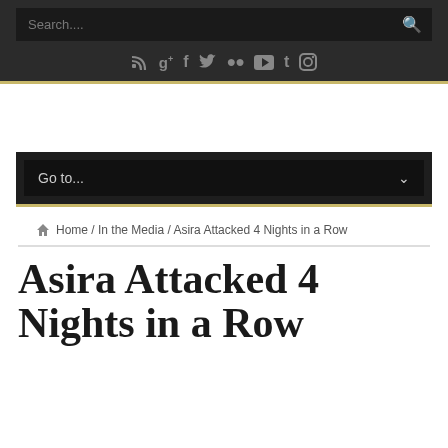Search... [search bar with button]
[Figure (other): Social media icons row: RSS, Google+, Facebook, Twitter, Flickr, YouTube, Tumblr, Instagram]
[Figure (other): Navigation dropdown menu: Go to... with chevron]
Home / In the Media / Asira Attacked 4 Nights in a Row
Asira Attacked 4 Nights in a Row